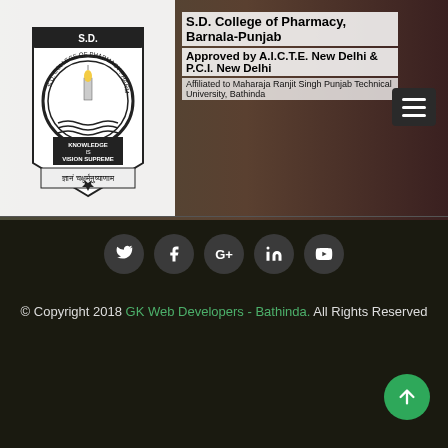[Figure (logo): S.D. College of Pharmacy shield logo with candle, KNOWLEDGE IS VISION SUPREME text, and Sanskrit motto]
S.D. College of Pharmacy, Barnala-Punjab
Approved by A.I.C.T.E. New Delhi & P.C.I. New Delhi
Affiliated to Maharaja Ranjit Singh Punjab Technical University, Bathinda
[Figure (infographic): Social media icon buttons: Twitter, Facebook, Google+, LinkedIn, YouTube]
© Copyright 2018 GK Web Developers - Bathinda. All Rights Reserved